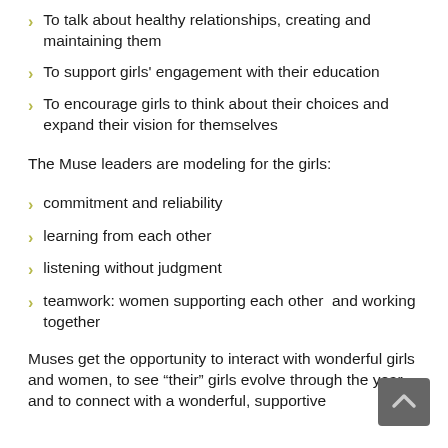To talk about healthy relationships, creating and maintaining them
To support girls' engagement with their education
To encourage girls to think about their choices and expand their vision for themselves
The Muse leaders are modeling for the girls:
commitment and reliability
learning from each other
listening without judgment
teamwork: women supporting each other  and working together
Muses get the opportunity to interact with wonderful girls and women, to see “their” girls evolve through the year and to connect with a wonderful, supportive…